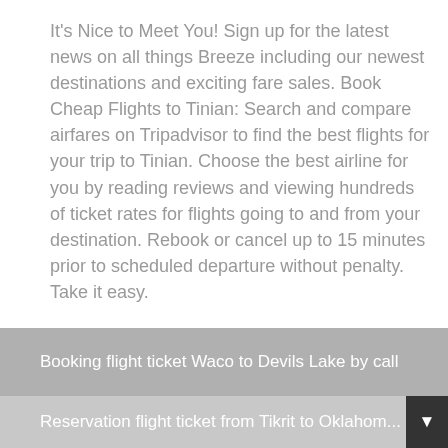It's Nice to Meet You! Sign up for the latest news on all things Breeze including our newest destinations and exciting fare sales. Book Cheap Flights to Tinian: Search and compare airfares on Tripadvisor to find the best flights for your trip to Tinian. Choose the best airline for you by reading reviews and viewing hundreds of ticket rates for flights going to and from your destination. Rebook or cancel up to 15 minutes prior to scheduled departure without penalty. Take it easy.
Earn flight credits for every purchase and use them at your leisure for up to 24 months. It's Nice to Meet You! Sign up for the latest news on all things Breeze including our newest destinations and exciting fare sales.
Booking flight ticket Waco to Devils Lake by call
Reservation flight ticket from Tikrit to Oklahoma...